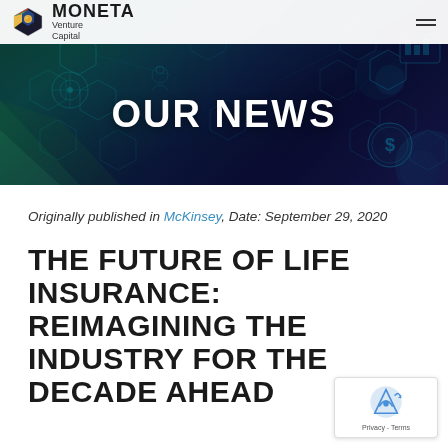[Figure (screenshot): Moneta Venture Capital website header banner with dark blue/teal hexagonal network background and 'OUR NEWS' title in white bold text. Navigation bar at top with Moneta logo and hamburger menu.]
Originally published in McKinsey, Date: September 29, 2020
THE FUTURE OF LIFE INSURANCE: REIMAGINING THE INDUSTRY FOR THE DECADE AHEAD